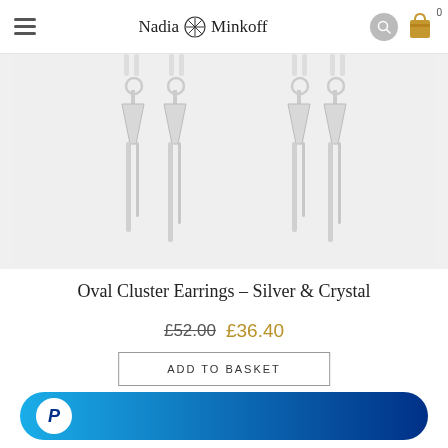Nadia Minkoff
[Figure (photo): Product photo of Oval Cluster Earrings - Silver & Crystal, showing two pairs of crystal drop earrings with silver bar pendants on white background]
Oval Cluster Earrings – Silver & Crystal
£52.00 £36.40
ADD TO BASKET
[Figure (other): PayPal checkout button - blue gradient rounded rectangle with PayPal P logo]